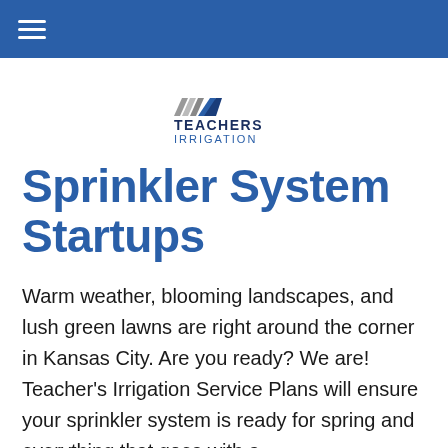Navigation bar with hamburger menu
[Figure (logo): Teachers Irrigation logo with stylized roof/chevron marks in gray and blue above the text TEACHERS IRRIGATION in dark navy blue]
Sprinkler System Startups
Warm weather, blooming landscapes, and lush green lawns are right around the corner in Kansas City. Are you ready? We are! Teacher's Irrigation Service Plans will ensure your sprinkler system is ready for spring and everything that goes with a beautiful landscape during the warm summer...